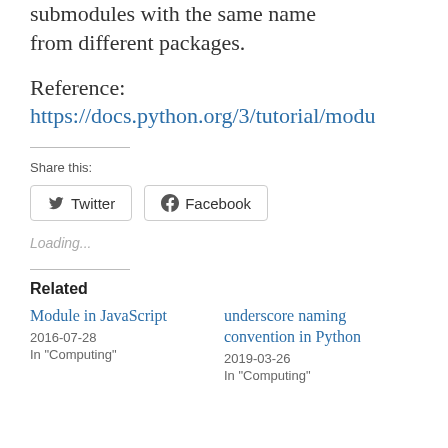submodules with the same name from different packages.
Reference: https://docs.python.org/3/tutorial/modu
Share this:
Twitter  Facebook
Loading...
Related
Module in JavaScript
2016-07-28
In "Computing"
underscore naming convention in Python
2019-03-26
In "Computing"